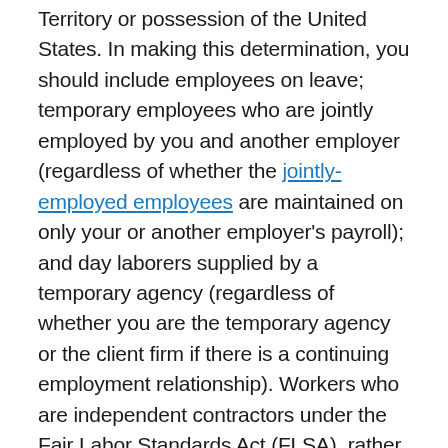Territory or possession of the United States. In making this determination, you should include employees on leave; temporary employees who are jointly employed by you and another employer (regardless of whether the jointly-employed employees are maintained on only your or another employer's payroll); and day laborers supplied by a temporary agency (regardless of whether you are the temporary agency or the client firm if there is a continuing employment relationship). Workers who are independent contractors under the Fair Labor Standards Act (FLSA), rather than employees, are not considered employees for purposes of the 500...